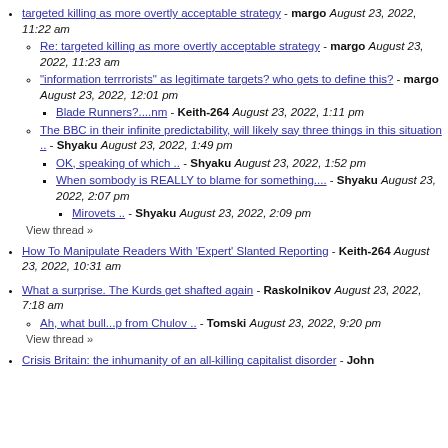targeted killing as more overtly acceptable strategy - margo August 23, 2022, 11:22 am
Re: targeted killing as more overtly acceptable strategy - margo August 23, 2022, 11:23 am
"information terrrorists" as legitimate targets? who gets to define this? - margo August 23, 2022, 12:01 pm
Blade Runners?....nm - Keith-264 August 23, 2022, 1:11 pm
The BBC in their infinite predictability, will likely say three things in this situation .. - Shyaku August 23, 2022, 1:49 pm
OK, speaking of which .. - Shyaku August 23, 2022, 1:52 pm
When sombody is REALLY to blame for something.... - Shyaku August 23, 2022, 2:07 pm
Mirovets .. - Shyaku August 23, 2022, 2:09 pm
View thread »
How To Manipulate Readers With 'Expert' Slanted Reporting - Keith-264 August 23, 2022, 10:31 am
What a surprise. The Kurds get shafted again - Raskolnikov August 23, 2022, 7:18 am
Ah, what bull...p from Chulov .. - Tomski August 23, 2022, 9:20 pm
View thread »
Crisis Britain: the inhumanity of an all-killing capitalist disorder - John